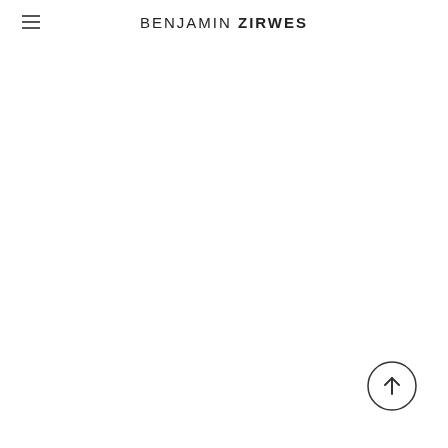BENJAMIN ZIRWES
[Figure (illustration): Circular scroll-to-top button with upward arrow icon, outlined circle style, dark arrow on white background]